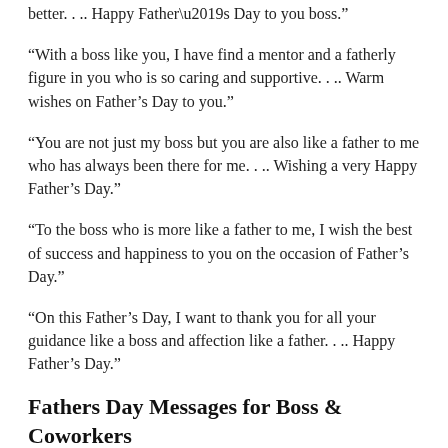better. . .. Happy Father’s Day to you boss.”
“With a boss like you, I have find a mentor and a fatherly figure in you who is so caring and supportive. . .. Warm wishes on Father’s Day to you.”
“You are not just my boss but you are also like a father to me who has always been there for me. . .. Wishing a very Happy Father’s Day.”
“To the boss who is more like a father to me, I wish the best of success and happiness to you on the occasion of Father’s Day.”
“On this Father’s Day, I want to thank you for all your guidance like a boss and affection like a father. . .. Happy Father’s Day.”
Fathers Day Messages for Boss & Coworkers